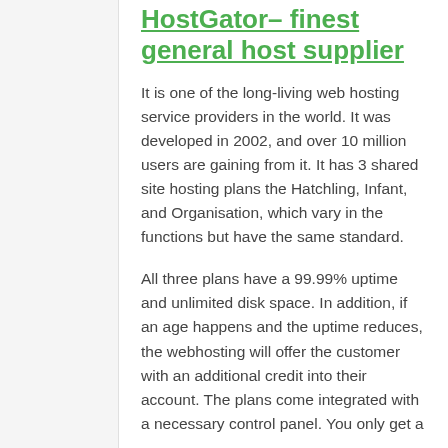HostGator– finest general host supplier
It is one of the long-living web hosting service providers in the world. It was developed in 2002, and over 10 million users are gaining from it. It has 3 shared site hosting plans the Hatchling, Infant, and Organisation, which vary in the functions but have the same standard.
All three plans have a 99.99% uptime and unlimited disk space. In addition, if an age happens and the uptime reduces, the webhosting will offer the customer with an additional credit into their account. The plans come integrated with a necessary control panel. You only get a